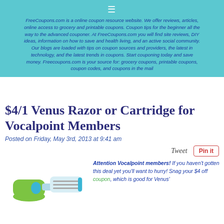≡
FreeCoupons.com is a online coupon resource website. We offer reviews, articles, online access to grocery and printable coupons. Coupon tips for the beginner all the way to the advanced couponer. At FreeCoupons.com you will find site reviews, DIY ideas, information on how to save and health living, and an active social community. Our blogs are loaded with tips on coupon sources and providers, the latest in technology, and the latest trends in coupons. Start couponing today and save money. Freecoupons.com is your source for: grocery coupons, printable coupons, coupon codes, and coupons in the mail
$4/1 Venus Razor or Cartridge for Vocalpoint Members
Posted on Friday, May 3rd, 2013 at 9:41 am
[Figure (illustration): Image of a green and blue Venus razor]
Attention Vocalpoint members! If you haven't gotten this deal yet you'll want to hurry! Snag your $4 off coupon, which is good for Venus'